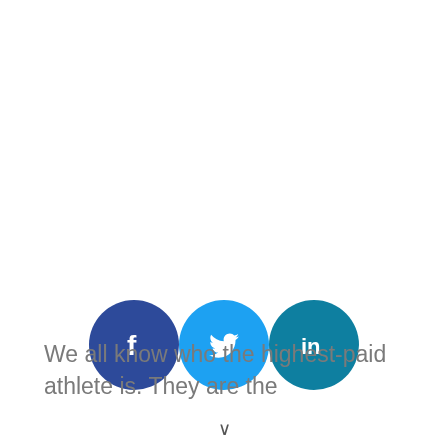[Figure (other): Three social media share buttons in circles: Facebook (dark blue with f icon), Twitter (light blue with bird icon), LinkedIn (teal with in icon)]
We all know who the highest-paid athlete is. They are the